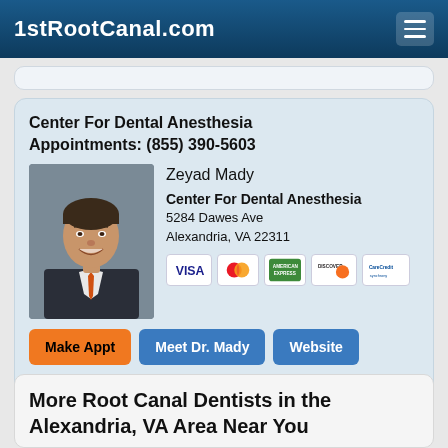1stRootCanal.com
Center For Dental Anesthesia
Appointments: (855) 390-5603
[Figure (photo): Professional headshot of Dr. Zeyad Mady, a man in a dark suit with an orange tie, smiling against a grey background]
Zeyad Mady
Center For Dental Anesthesia
5284 Dawes Ave
Alexandria, VA 22311
[Figure (other): Payment method icons: Visa, MasterCard, American Express, Discover, CareCredit]
Make Appt   Meet Dr. Mady   Website
more info …
More Root Canal Dentists in the Alexandria, VA Area Near You